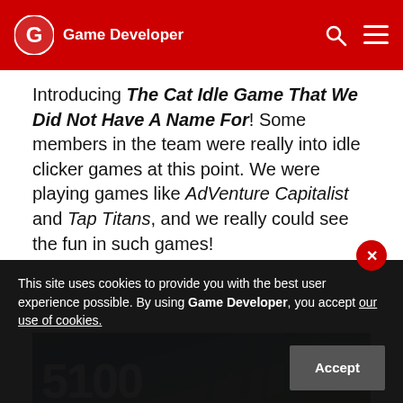Game Developer
Introducing The Cat Idle Game That We Did Not Have A Name For! Some members in the team were really into idle clicker games at this point. We were playing games like AdVenture Capitalist and Tap Titans, and we really could see the fun in such games!
[Figure (screenshot): Screenshot of a game showing large white text '5100' over a dark stylized environment background]
This site uses cookies to provide you with the best user experience possible. By using Game Developer, you accept our use of cookies.